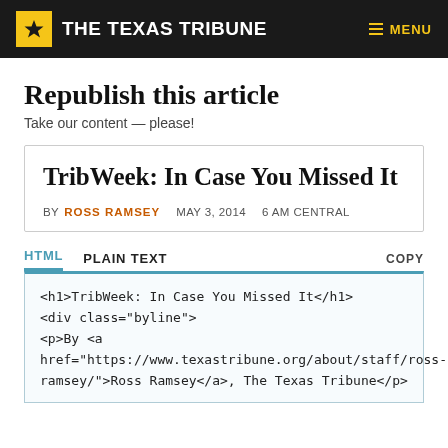THE TEXAS TRIBUNE  MENU
Republish this article
Take our content — please!
TribWeek: In Case You Missed It
BY ROSS RAMSEY   MAY 3, 2014   6 AM CENTRAL
HTML   PLAIN TEXT   COPY
<h1>TribWeek: In Case You Missed It</h1>
<div class="byline">
<p>By <a
href="https://www.texastribune.org/about/staff/ross-ramsey/">Ross Ramsey</a>, The Texas Tribune</p>